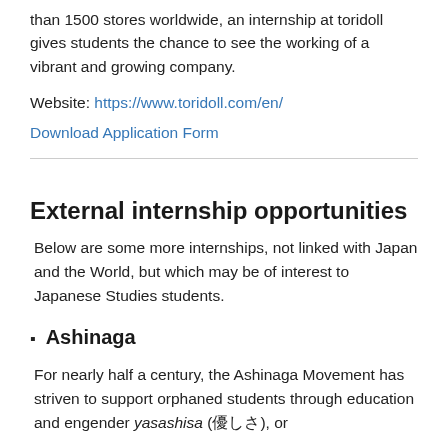than 1500 stores worldwide, an internship at toridoll gives students the chance to see the working of a vibrant and growing company.
Website: https://www.toridoll.com/en/
Download Application Form
External internship opportunities
Below are some more internships, not linked with Japan and the World, but which may be of interest to Japanese Studies students.
Ashinaga
For nearly half a century, the Ashinaga Movement has striven to support orphaned students through education and engender yasashisa (優しさ), or